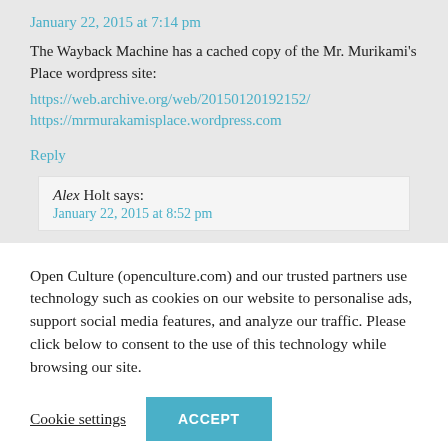January 22, 2015 at 7:14 pm
The Wayback Machine has a cached copy of the Mr. Murikami's Place wordpress site:
https://web.archive.org/web/20150120192152/
https://mrmurakamisplace.wordpress.com
Reply
Alex Holt says:
January 22, 2015 at 8:52 pm
Open Culture (openculture.com) and our trusted partners use technology such as cookies on our website to personalise ads, support social media features, and analyze our traffic. Please click below to consent to the use of this technology while browsing our site.
Cookie settings
ACCEPT